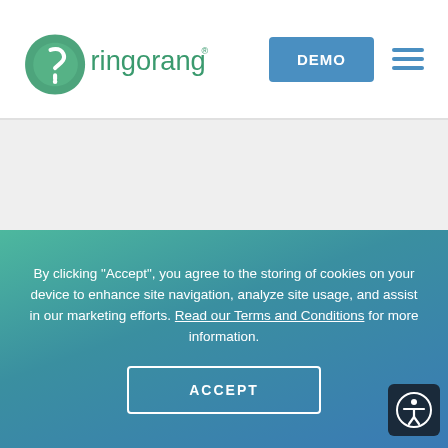[Figure (logo): Ringorang logo with circular icon and green text]
[Figure (other): DEMO button (blue) and hamburger menu icon (blue lines)]
[Figure (other): Grey placeholder content area]
By clicking “Accept”, you agree to the storing of cookies on your device to enhance site navigation, analyze site usage, and assist in our marketing efforts. Read our Terms and Conditions for more information.
[Figure (other): ACCEPT button with white border on teal/blue gradient background]
[Figure (other): Accessibility icon (person in circle) on dark navy background]